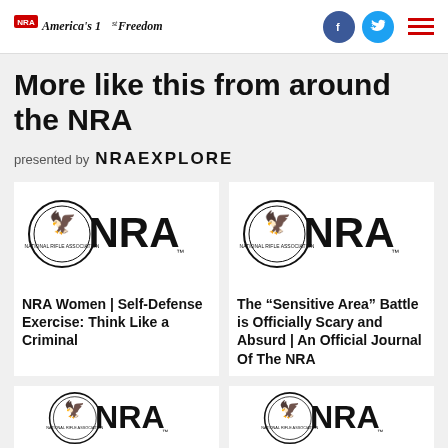NRA America's 1st Freedom
More like this from around the NRA
presented by NRA EXPLORE
[Figure (logo): NRA logo with eagle seal]
NRA Women | Self-Defense Exercise: Think Like a Criminal
[Figure (logo): NRA logo with eagle seal]
The “Sensitive Area” Battle is Officially Scary and Absurd | An Official Journal Of The NRA
[Figure (logo): NRA logo with eagle seal - partial]
[Figure (logo): NRA logo with eagle seal - partial]